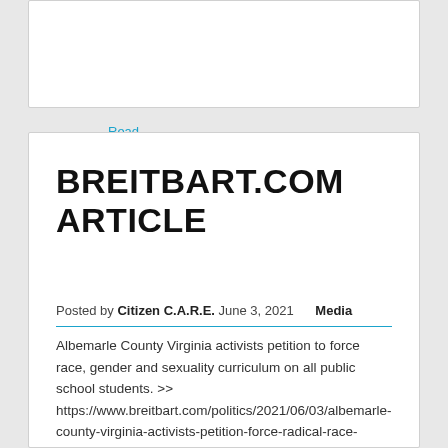Read More »
BREITBART.COM ARTICLE
Posted by Citizen C.A.R.E. June 3, 2021    Media
Albemarle County Virginia activists petition to force race, gender and sexuality curriculum on all public school students. >> https://www.breitbart.com/politics/2021/06/03/albemarle-county-virginia-activists-petition-force-radical-race-gender-